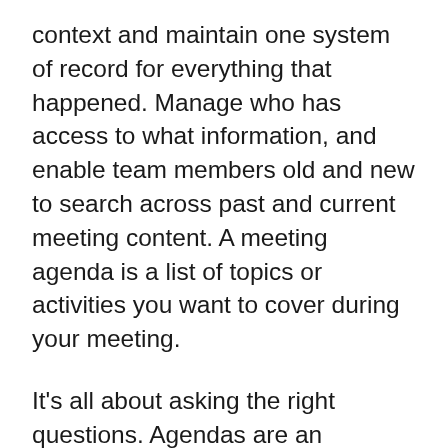context and maintain one system of record for everything that happened. Manage who has access to what information, and enable team members old and new to search across past and current meeting content. A meeting agenda is a list of topics or activities you want to cover during your meeting.
It's all about asking the right questions. Agendas are an important first step for a successful meeting, but far too few leaders put enough thought into the ones they create. In fact, research has found that a large percentage of agendas ar Whether it's an employee meeting or one that involves managers, employees, CEOs and investors, someone needs to be there to record the meeting and share the information with others who were not there. And since memories can be short, the me A meeting